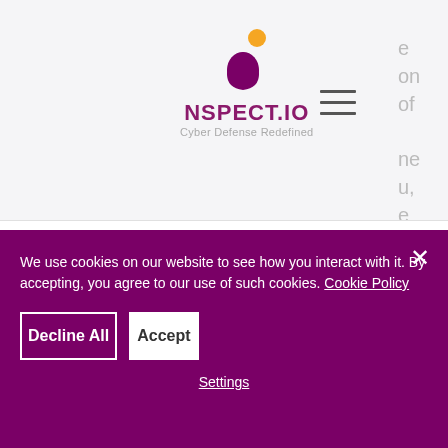[Figure (logo): NSPECT.IO logo with purple teardrop and yellow/orange dot icon, tagline Cyber Defense Redefined]
Assembly, and State Senator Robert Hertzberg.
We use cookies on our website to see how you interact with it. By accepting, you agree to our use of such cookies. Cookie Policy
Decline All
Accept
Settings